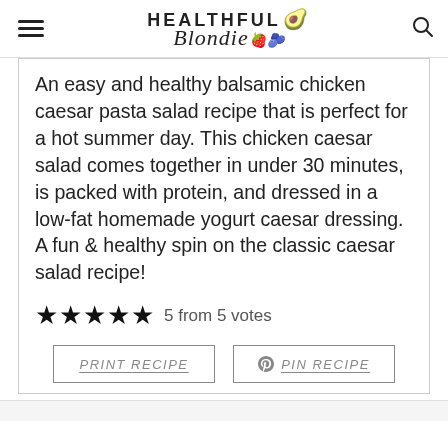HEALTHFUL Blondie
An easy and healthy balsamic chicken caesar pasta salad recipe that is perfect for a hot summer day. This chicken caesar salad comes together in under 30 minutes, is packed with protein, and dressed in a low-fat homemade yogurt caesar dressing. A fun & healthy spin on the classic caesar salad recipe!
5 from 5 votes
PRINT RECIPE  PIN RECIPE